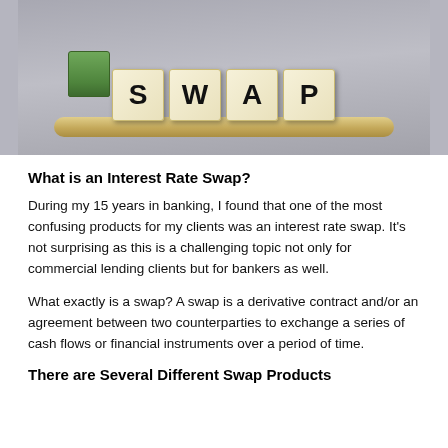[Figure (photo): Photo of scrabble tiles spelling SWAP on a wooden tile rack, with rolled dollar bills in the background, on a gray surface.]
What is an Interest Rate Swap?
During my 15 years in banking, I found that one of the most confusing products for my clients was an interest rate swap.  It’s not surprising as this is a challenging topic not only for commercial lending clients but for bankers as well.
What exactly is a swap?  A swap is a derivative contract and/or an agreement between two counterparties to exchange a series of cash flows or financial instruments over a period of time.
There are Several Different Swap Products